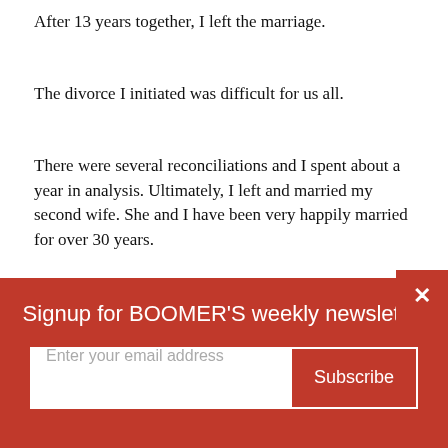After 13 years together, I left the marriage.
The divorce I initiated was difficult for us all.
There were several reconciliations and I spent about a year in analysis. Ultimately, I left and married my second wife. She and I have been very happily married for over 30 years.
There are children (now grown) from both marriages, and they all get along incredibly well.
Stacey remarried (happily) and after many years in the wilderness we are able to attend family activities and
Signup for BOOMER'S weekly newsletter
Enter your email address
Subscribe